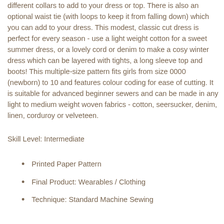different collars to add to your dress or top. There is also an optional waist tie (with loops to keep it from falling down) which you can add to your dress. This modest, classic cut dress is perfect for every season - use a light weight cotton for a sweet summer dress, or a lovely cord or denim to make a cosy winter dress which can be layered with tights, a long sleeve top and boots! This multiple-size pattern fits girls from size 0000 (newborn) to 10 and features colour coding for ease of cutting. It is suitable for advanced beginner sewers and can be made in any light to medium weight woven fabrics - cotton, seersucker, denim, linen, corduroy or velveteen.
Skill Level: Intermediate
Printed Paper Pattern
Final Product: Wearables / Clothing
Technique: Standard Machine Sewing